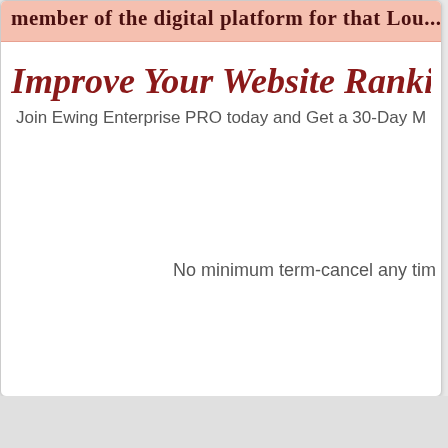member of the digital platform for that...
Improve Your Website Ranki...
Join Ewing Enterprise PRO today and Get a 30-Day M...
No minimum term-cancel any tim...